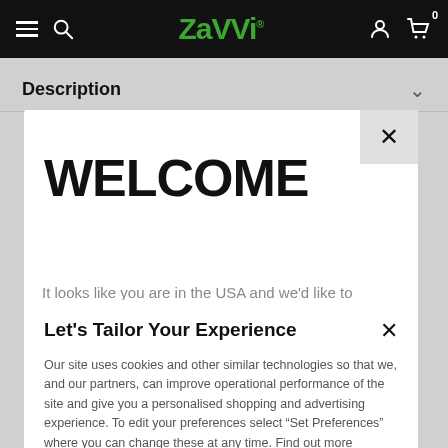ZAVVI. [navigation bar with hamburger menu, search, logo, user icon, cart with 0 items]
Description
WELCOME
Let's Tailor Your Experience
Our site uses cookies and other similar technologies so that we, and our partners, can improve operational performance of the site and give you a personalised shopping and advertising experience. To edit your preferences select “Set Preferences” where you can change these at any time. Find out more information here.
Set Preferences | That's OK